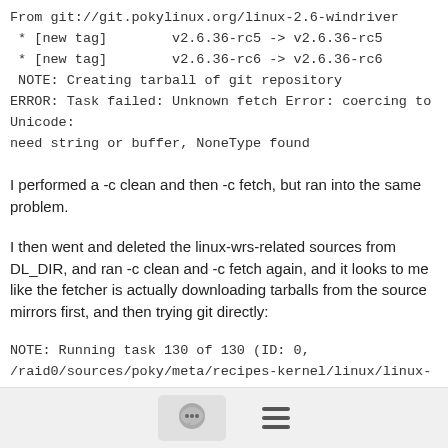From git://git.pokylinux.org/linux-2.6-windriver
 * [new tag]        v2.6.36-rc5 -> v2.6.36-rc5
 * [new tag]        v2.6.36-rc6 -> v2.6.36-rc6
NOTE: Creating tarball of git repository
ERROR: Task failed: Unknown fetch Error: coercing to Unicode: need string or buffer, NoneType found
I performed a -c clean and then -c fetch, but ran into the same problem.
I then went and deleted the linux-wrs-related sources from DL_DIR, and ran -c clean and -c fetch again, and it looks to me like the fetcher is actually downloading tarballs from the source mirrors first, and then trying git directly:
NOTE: Running task 130 of 130 (ID: 0, /raid0/sources/poky/meta/recipes-kernel/linux/linux-wrs_git.bb, do_fetch)
NOTE: package linux-wrs-
[Figure (other): Footer bar with chat bubble icon and hamburger menu icon]